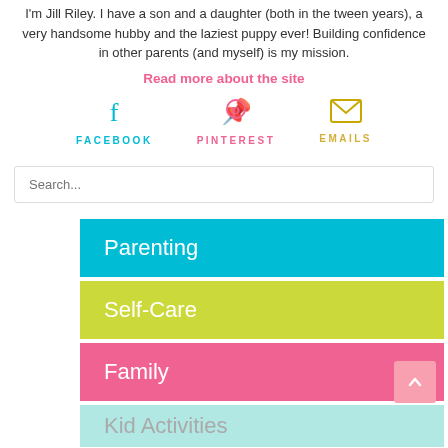I'm Jill Riley. I have a son and a daughter (both in the tween years), a very handsome hubby and the laziest puppy ever! Building confidence in other parents (and myself) is my mission.
Read more about the site
[Figure (infographic): Three social media icons: Facebook (teal), Pinterest (pink), Emails (yellow/gold), each with icon above and label below]
Search...
Parenting
Self-Care
Family
Kid Activities